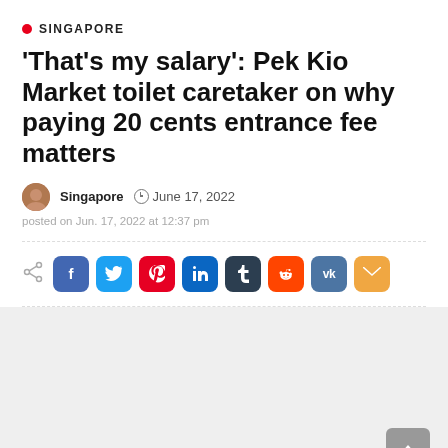SINGAPORE
'That's my salary': Pek Kio Market toilet caretaker on why paying 20 cents entrance fee matters
Singapore  June 17, 2022
posted on Jun. 17, 2022 at 12:37 pm
[Figure (other): Social media share buttons: share icon, Facebook, Twitter, Pinterest, LinkedIn, Tumblr, Reddit, VK, Email]
[Figure (other): Gray content area with scroll-to-top button in bottom right corner]